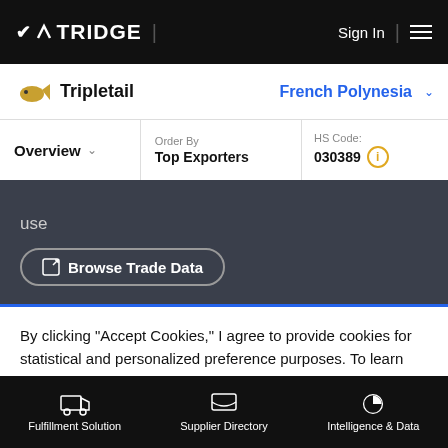TRIDGE | Sign In
Tripletail  French Polynesia
Overview  Order By Top Exporters  HS Code: 030389
use
Browse Trade Data
By clicking “Accept Cookies,” I agree to provide cookies for statistical and personalized preference purposes. To learn more about our cookies, please read our Privacy Policy.
Accept Cookies
Fulfillment Solution  Supplier Directory  Intelligence & Data